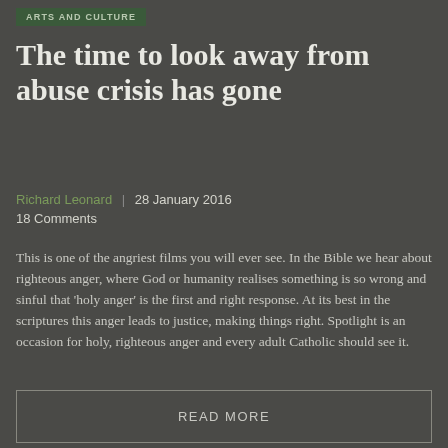ARTS AND CULTURE
The time to look away from abuse crisis has gone
Richard Leonard | 28 January 2016
18 Comments
This is one of the angriest films you will ever see. In the Bible we hear about righteous anger, where God or humanity realises something is so wrong and sinful that 'holy anger' is the first and right response. At its best in the scriptures this anger leads to justice, making things right. Spotlight is an occasion for holy, righteous anger and every adult Catholic should see it.
READ MORE